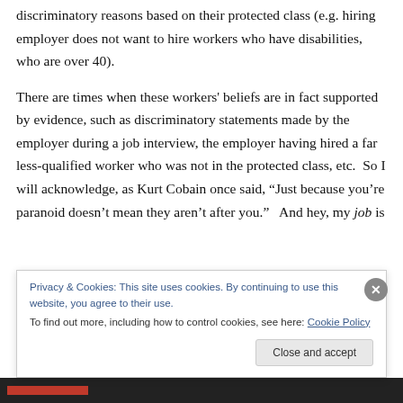discriminatory reasons based on their protected class (e.g. hiring employer does not want to hire workers who have disabilities, who are over 40).
There are times when these workers' beliefs are in fact supported by evidence, such as discriminatory statements made by the employer during a job interview, the employer having hired a far less-qualified worker who was not in the protected class, etc.  So I will acknowledge, as Kurt Cobain once said, “Just because you’re paranoid doesn’t mean they aren’t after you.”   And hey, my job is
Privacy & Cookies: This site uses cookies. By continuing to use this website, you agree to their use.
To find out more, including how to control cookies, see here: Cookie Policy
Close and accept